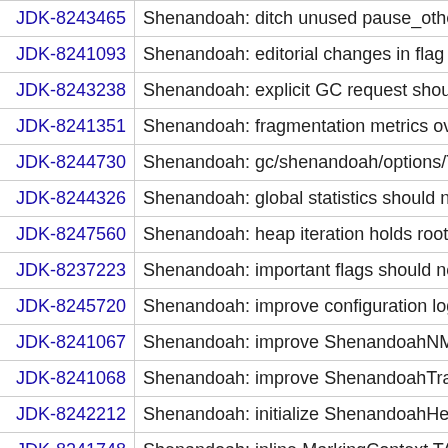| ID | Description |
| --- | --- |
| JDK-8243465 | Shenandoah: ditch unused pause_other, cond... |
| JDK-8241093 | Shenandoah: editorial changes in flag descrip... |
| JDK-8243238 | Shenandoah: explicit GC request should wait... |
| JDK-8241351 | Shenandoah: fragmentation metrics overhaul... |
| JDK-8244730 | Shenandoah: gc/shenandoah/options/TestHeu... |
| JDK-8244326 | Shenandoah: global statistics should not acce... |
| JDK-8247560 | Shenandoah: heap iteration holds root locks a... |
| JDK-8237223 | Shenandoah: important flags should not be er... |
| JDK-8245720 | Shenandoah: improve configuration logging |
| JDK-8241067 | Shenandoah: improve ShenandoahNMethod::... |
| JDK-8241068 | Shenandoah: improve ShenandoahTraversalC... |
| JDK-8242212 | Shenandoah: initialize ShenandoahHeuristics:... |
| JDK-8241748 | Shenandoah: inline MarkingContext TAMS me... |
| JDK-8242229 | Shenandoah: inline ShenandoahHeapRegion:... |
| JDK-8241842 | Shenandoah: inline ShenandoahHeapRegion::... |